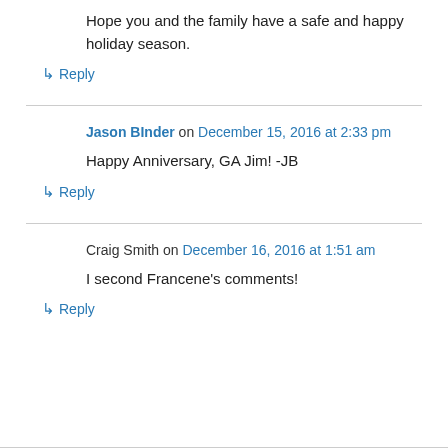Hope you and the family have a safe and happy holiday season.
↳ Reply
Jason BInder on December 15, 2016 at 2:33 pm
Happy Anniversary, GA Jim! -JB
↳ Reply
Craig Smith on December 16, 2016 at 1:51 am
I second Francene's comments!
↳ Reply